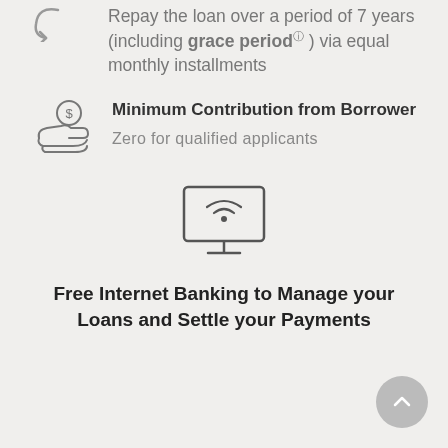Repay the loan over a period of 7 years (including grace period ⓘ ) via equal monthly installments
Minimum Contribution from Borrower
Zero for qualified applicants
[Figure (illustration): Monitor/computer screen icon with wifi signal bars, representing internet banking]
Free Internet Banking to Manage your Loans and Settle your Payments